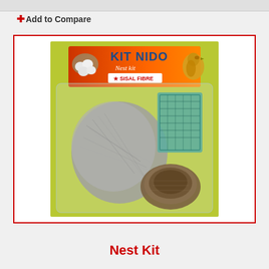+ Add to Compare
[Figure (photo): Product photo of a Kit Nido Nest Kit packaged in a clear plastic bag on a yellow-green background. The package contains sisal fibre nesting material (grey fibres), a green mesh cup/holder, and a round natural nest. The package header label is orange/red with the text 'KIT NIDO Nest kit' and 'SISAL FIBRE' logo, with images of bird eggs and a bird.]
Nest Kit